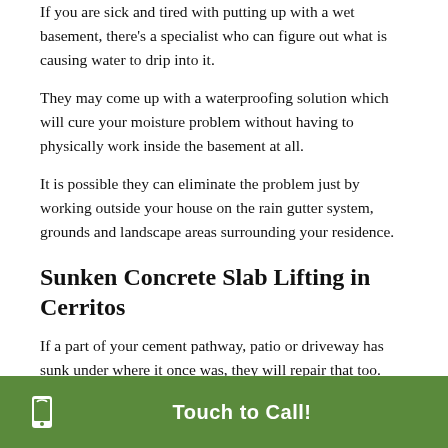If you are sick and tired with putting up with a wet basement, there's a specialist who can figure out what is causing water to drip into it.
They may come up with a waterproofing solution which will cure your moisture problem without having to physically work inside the basement at all.
It is possible they can eliminate the problem just by working outside your house on the rain gutter system, grounds and landscape areas surrounding your residence.
Sunken Concrete Slab Lifting in Cerritos
If a part of your cement pathway, patio or driveway has sunk under where it once was, they will repair that too.
They use a method called mud jacking (sometimes
Touch to Call!